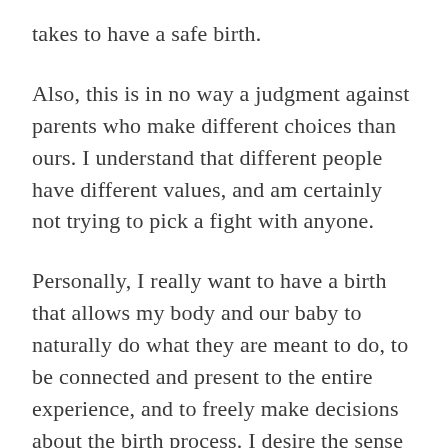takes to have a safe birth.
Also, this is in no way a judgment against parents who make different choices than ours. I understand that different people have different values, and am certainly not trying to pick a fight with anyone.
Personally, I really want to have a birth that allows my body and our baby to naturally do what they are meant to do, to be connected and present to the entire experience, and to freely make decisions about the birth process. I desire the sense of accomplishment that I imagine I'll have after the difficult and involved work of